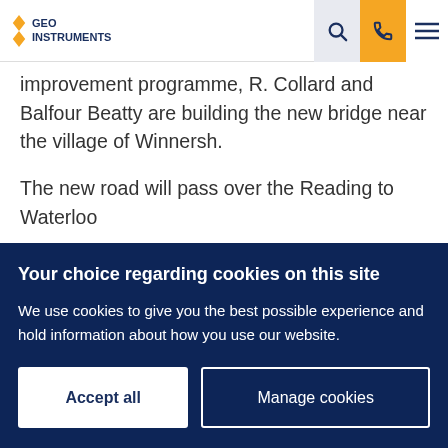GEO INSTRUMENTS
improvement programme, R. Collard and Balfour Beatty are building the new bridge near the village of Winnersh.
The new road will pass over the Reading to Waterloo railway and is set to ease traffic flow and alleviate
Your choice regarding cookies on this site
We use cookies to give you the best possible experience and hold information about how you use our website.
Accept all
Manage cookies